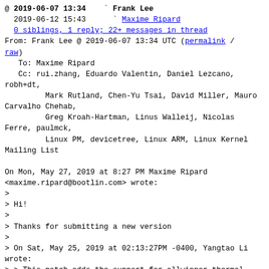@ 2019-06-07 13:34  Frank Lee
  2019-06-12 15:43  Maxime Ripard
  0 siblings, 1 reply; 22+ messages in thread
From: Frank Lee @ 2019-06-07 13:34 UTC (permalink / raw)
   To: Maxime Ripard
   Cc: rui.zhang, Eduardo Valentin, Daniel Lezcano, robh+dt,
           Mark Rutland, Chen-Yu Tsai, David Miller, Mauro Carvalho Chehab,
           Greg Kroah-Hartman, Linus Walleij, Nicolas Ferre, paulmck,
           Linux PM, devicetree, Linux ARM, Linux Kernel Mailing List

On Mon, May 27, 2019 at 8:27 PM Maxime Ripard
<maxime.ripard@bootlin.com> wrote:
>
> Hi!
>
> Thanks for submitting a new version
>
> On Sat, May 25, 2019 at 02:13:27PM -0400, Yangtao Li wrote:
> > This patch adds the support for allwinner thermal sensor, within
> > allwinner SoC. It will register sensors for thermal framework
> > and use device tree to bind cooling device.
> >